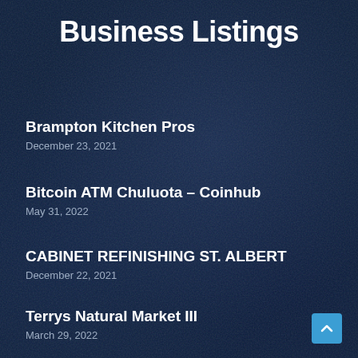Business Listings
Brampton Kitchen Pros
December 23, 2021
Bitcoin ATM Chuluota – Coinhub
May 31, 2022
CABINET REFINISHING ST. ALBERT
December 22, 2021
Terrys Natural Market III
March 29, 2022